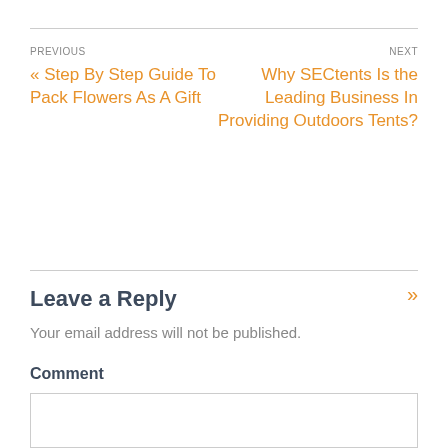PREVIOUS
« Step By Step Guide To Pack Flowers As A Gift
NEXT
Why SECtents Is the Leading Business In Providing Outdoors Tents? »
Leave a Reply
Your email address will not be published.
Comment